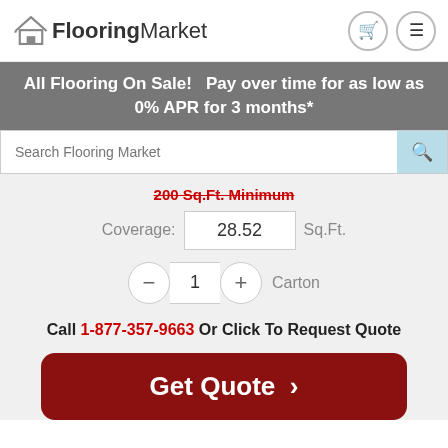[Figure (logo): FlooringMarket logo with house icon and shopping cart / menu icons]
All Flooring On Sale!   Pay over time for as low as 0% APR for 3 months*
Search Flooring Market
200 Sq.Ft. Minimum
Coverage: 28.52 Sq.Ft.
1 Carton
Call 1-877-357-9663 Or Click To Request Quote
Get Quote >